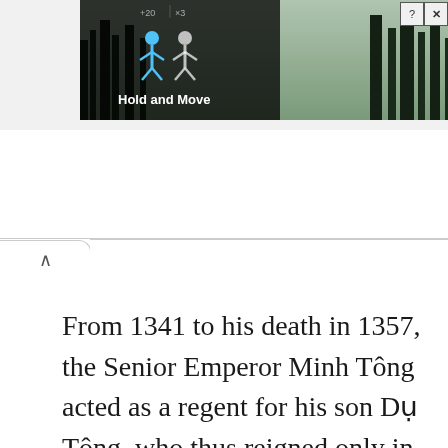[Figure (screenshot): Advertisement banner showing a dark game/app interface with 'Hold and Move' text, human silhouette icon in blue, score display, and close/help buttons in top right corner. Background shows trees.]
From 1341 to his death in 1357, the Senior Emperor Minh Tông acted as a regent for his son Dụ Tông, who thus reigned only in name. According to Đại Việt sử ký toàn thư , the young Emperor Dụ Tông was very intelligent and was completely focused on managing both civil a